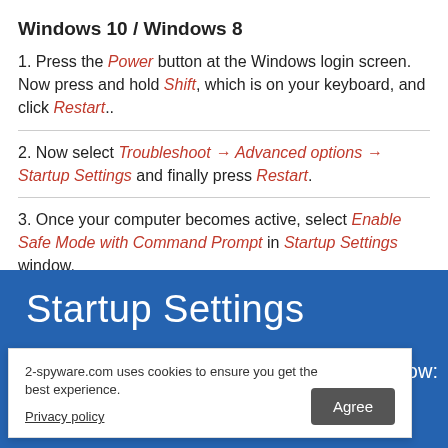Windows 10 / Windows 8
1. Press the Power button at the Windows login screen. Now press and hold Shift, which is on your keyboard, and click Restart..
2. Now select Troubleshoot → Advanced options → Startup Settings and finally press Restart.
3. Once your computer becomes active, select Enable Safe Mode with Command Prompt in Startup Settings window.
[Figure (screenshot): Screenshot of Windows Startup Settings screen with blue background showing 'Startup Settings' heading and partial text 'ptions below:']
2-spyware.com uses cookies to ensure you get the best experience. Privacy policy [Agree button]